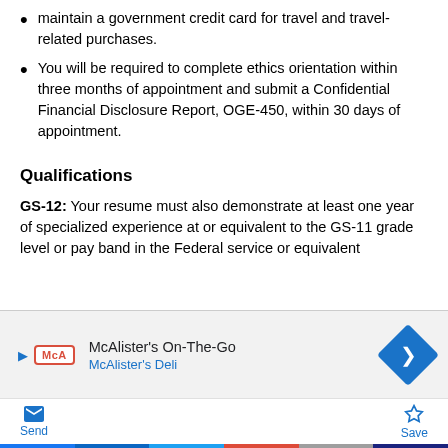maintain a government credit card for travel and travel-related purchases.
You will be required to complete ethics orientation within three months of appointment and submit a Confidential Financial Disclosure Report, OGE-450, within 30 days of appointment.
Qualifications
GS-12: Your resume must also demonstrate at least one year of specialized experience at or equivalent to the GS-11 grade level or pay band in the Federal service or equivalent
[Figure (screenshot): Mobile advertisement banner for McAlister's On-The-Go by McAlister's Deli, with play arrow icon, McA logo, text, and blue diamond navigation icon]
[Figure (screenshot): Mobile bottom toolbar with Send (email icon) and Save (star icon) buttons in blue]
[Figure (screenshot): Social sharing bar with Facebook, LinkedIn, Twitter, Google+, Email, and Crown icons on colored backgrounds]